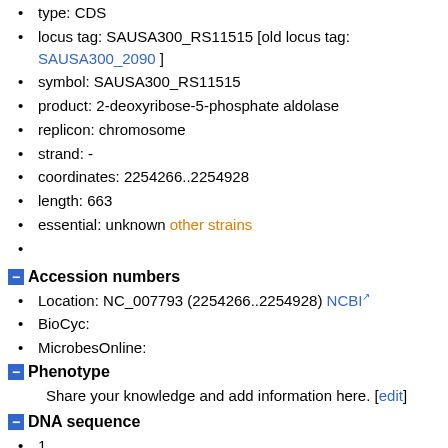type: CDS
locus tag: SAUSA300_RS11515 [old locus tag: SAUSA300_2090 ]
symbol: SAUSA300_RS11515
product: 2-deoxyribose-5-phosphate aldolase
replicon: chromosome
strand: -
coordinates: 2254266..2254928
length: 663
essential: unknown other strains
Accession numbers
Location: NC_007793 (2254266..2254928) NCBI
BioCyc:
MicrobesOnline:
Phenotype
Share your knowledge and add information here. [edit]
DNA sequence
1
61
121
181